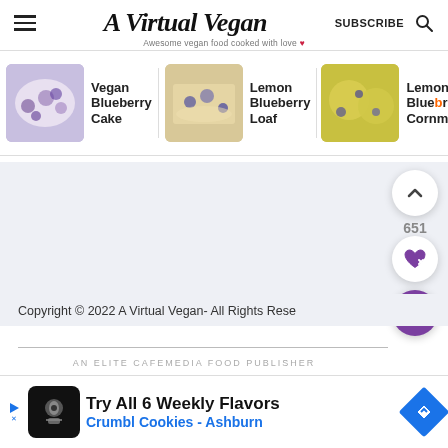A Virtual Vegan — SUBSCRIBE
Awesome vegan food cooked with love ♥
Vegan Blueberry Cake
Lemon Blueberry Loaf
Lemon & Blueberry Cornmeal
651
Copyright © 2022 A Virtual Vegan- All Rights Reserved
AN ELITE CAFEMEDIA FOOD PUBLISHER
Try All 6 Weekly Flavors Crumbl Cookies - Ashburn